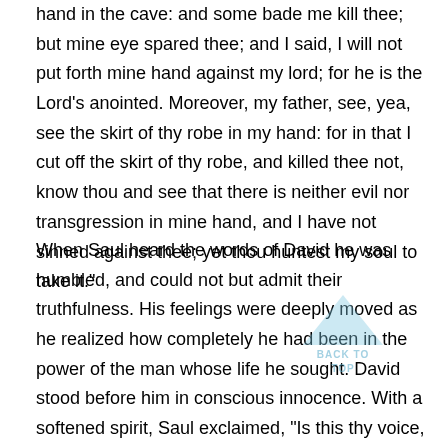hand in the cave: and some bade me kill thee; but mine eye spared thee; and I said, I will not put forth mine hand against my lord; for he is the Lord's anointed. Moreover, my father, see, yea, see the skirt of thy robe in my hand: for in that I cut off the skirt of thy robe, and killed thee not, know thou and see that there is neither evil nor transgression in mine hand, and I have not sinned against thee; yet thou huntest my soul to take it."
When Saul heard the words of David he was humbled, and could not but admit their truthfulness. His feelings were deeply moved as he realized how completely he had been in the power of the man whose life he sought. David stood before him in conscious innocence. With a softened spirit, Saul exclaimed, "Is this thy voice, my son David? And Saul lifted up his voice, and wept." Then he declared to David: "Thou art more righteous than I: for thou hast rewarded me good, whereas I have rewarded thee evil. . . . For if a man find his enemy, will he let him go well away? wherefore the Lord reward thee good for that thou hast done